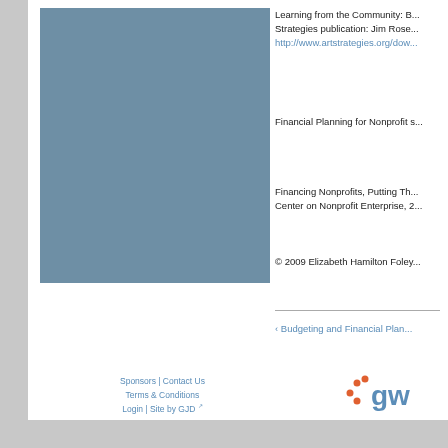[Figure (illustration): Blue-gray rectangular image block on the left side of the page]
Learning from the Community: B... Strategies publication: Jim Rose... http://www.artstrategies.org/dow...
Financial Planning for Nonprofit s...
Financing Nonprofits, Putting Th... Center on Nonprofit Enterprise, 2...
© 2009 Elizabeth Hamilton Foley...
‹ Budgeting and Financial Plan...
Sponsors | Contact Us  Terms & Conditions  Login | Site by GJD